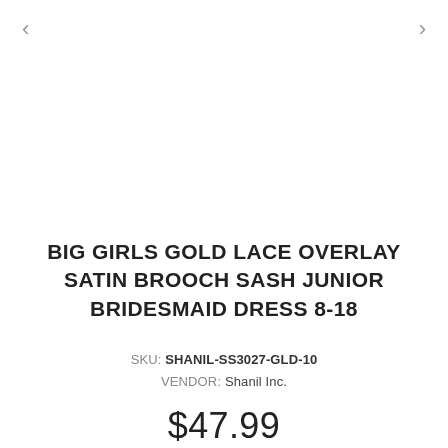BIG GIRLS GOLD LACE OVERLAY SATIN BROOCH SASH JUNIOR BRIDESMAID DRESS 8-18
SKU: SHANIL-SS3027-GLD-10
VENDOR: Shanil Inc.
$47.99